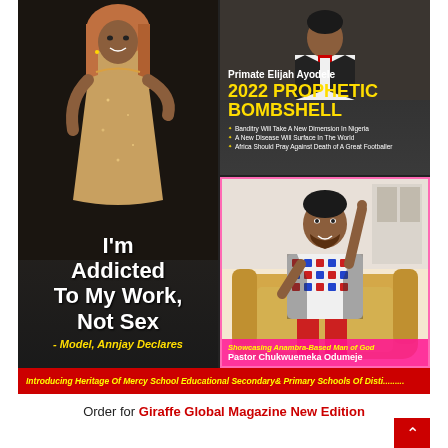[Figure (photo): Magazine cover composite image. Left panel: a woman in a gold dress (model Annjay) on dark background with white bold text 'I'm Addicted To My Work, Not Sex' and italic yellow text '- Model, Annjay Declares'. Top-right panel: dark background showing 'Primate Elijah Ayodele' in white, '2022 PROPHETIC BOMBSHELL' in yellow, and bullet points about prophecies. Bottom-right panel: pink-bordered image of Pastor Chukwuemeka Odumeje seated on a gold sofa pointing upward, wearing colorful shirt and red pants, with pink banner text.]
I'm Addicted To My Work, Not Sex
- Model, Annjay Declares
Primate Elijah Ayodele
2022 PROPHETIC BOMBSHELL
Banditry Will Take A New Dimension In Nigeria
A New Disease Will Surface In The World
Africa Should Pray Against Death of A Great Footballer
Showcasing Anambra-Based Man of God
Pastor Chukwuemeka Odumeje
Introducing Heritage Of Mercy School Educational Secondary & Primary Schools Of Disti.........
Order for Giraffe Global Magazine New Edition